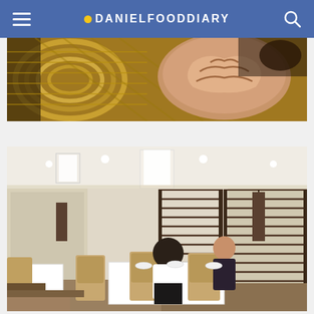DANIELFOODDIARY
[Figure (photo): Close-up photo of dim sum in a bamboo steamer basket, showing woven bamboo texture and steamed buns]
[Figure (photo): Interior of an upscale Chinese restaurant with white tablecloths, wooden lattice partition dividers, pendant lights, and two diners seated at a table]